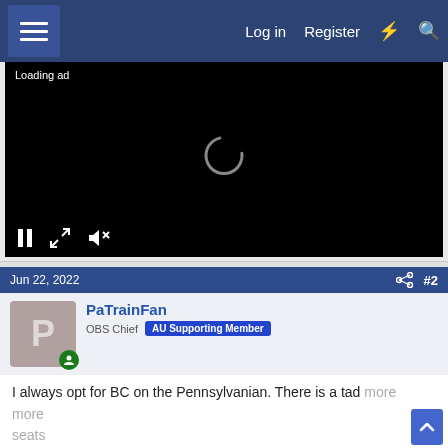Log in  Register
[Figure (screenshot): Video player with black background showing a loading spinner, 'Loading ad' text, and playback controls (pause, fullscreen, mute) at the bottom]
Jun 22, 2022  #2
PaTrainFan
OBS Chief  AU Supporting Member
I always opt for BC on the Pennsylvanian. There is a tad more ... seats ... etter than ...
[Figure (screenshot): CVS pharmacy advertisement banner: 'Find A Location Near You' with CVS logo and navigation arrow icon]